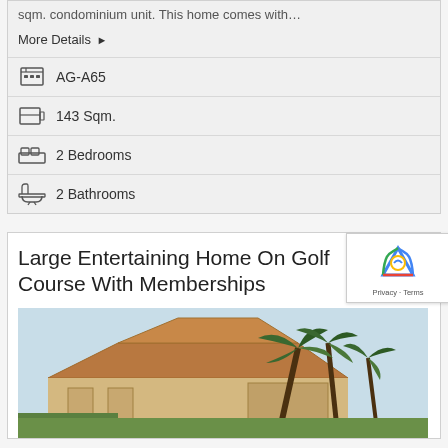sqm. condominium unit. This home comes with…
More Details ▶
AG-A65
143 Sqm.
2 Bedrooms
2 Bathrooms
Large Entertaining Home On Golf Course With Memberships
[Figure (photo): Exterior photo of a large home with palm trees and a tiled roof, partially cropped at bottom.]